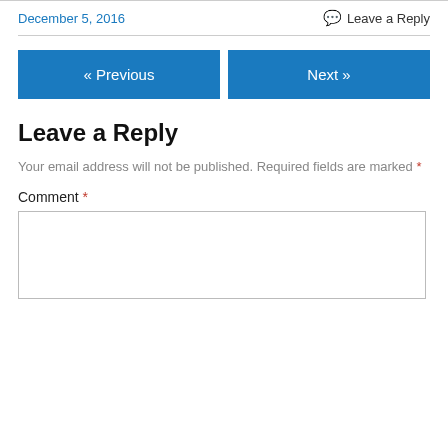December 5, 2016
Leave a Reply
« Previous
Next »
Leave a Reply
Your email address will not be published. Required fields are marked *
Comment *